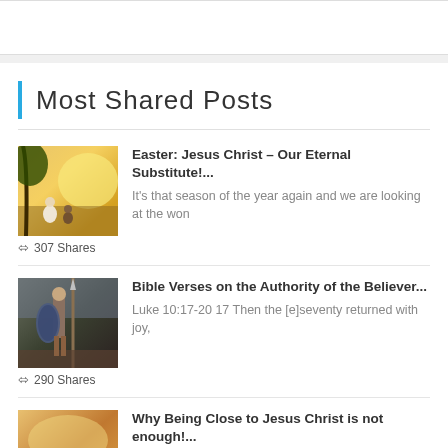Most Shared Posts
[Figure (photo): Religious painting of Jesus Christ sitting with a person by a lake at sunset]
Easter: Jesus Christ – Our Eternal Substitute!...
It's that season of the year again and we are looking at the won
307 Shares
[Figure (photo): Painting of a Roman or biblical warrior soldier with shield and spear]
Bible Verses on the Authority of the Believer...
Luke 10:17-20 17 Then the [e]seventy returned with joy,
290 Shares
[Figure (photo): Painting of Jesus Christ with followers]
Why Being Close to Jesus Christ is not enough!...